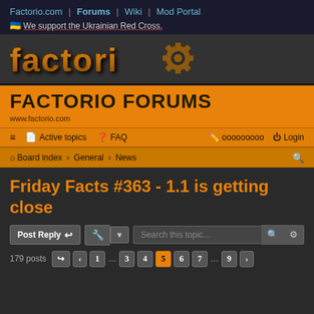Factorio.com | Forums | Wiki | Mod Portal
🇺🇦 We support the Ukrainian Red Cross.
[Figure (logo): Factorio logo with gear icon, orange stylized text on dark background]
FACTORIO FORUMS
www.factorio.com
≡  Active topics  ? FAQ  [icon] ооооооооо  ⏻ Login
⌂ Board index › General › News
Friday Facts #363 - 1.1 is getting close
Post Reply  [tools]  Search this topic...  [buttons]
179 posts  [nav] ‹ 1 … 3 4 5 6 7 … 9 ›